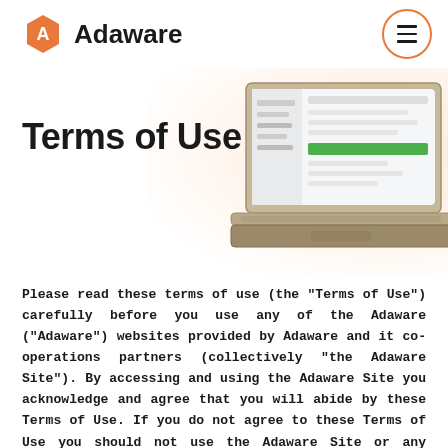Adaware
[Figure (logo): Adaware logo: orange hexagon shape with white A, followed by bold text 'Adaware']
[Figure (photo): Laptop computer showing a software interface with green and white UI elements, positioned in the upper right corner of the page with warm white/peach glow background]
Terms of Use
Please read these terms of use (the "Terms of Use") carefully before you use any of the Adaware ("Adaware") websites provided by Adaware and it co-operations partners (collectively "the Adaware Site"). By accessing and using the Adaware Site you acknowledge and agree that you will abide by these Terms of Use. If you do not agree to these Terms of Use you should not use the Adaware Site or any services, information or content made available on